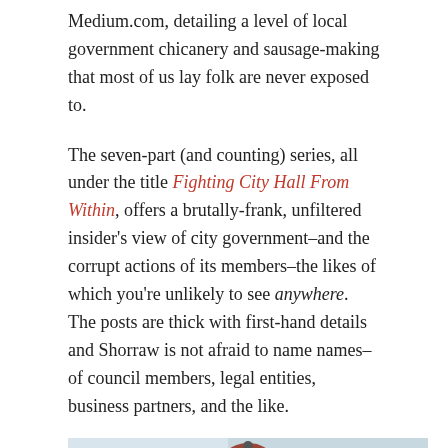Medium.com, detailing a level of local government chicanery and sausage-making that most of us lay folk are never exposed to.
The seven-part (and counting) series, all under the title Fighting City Hall From Within, offers a brutally-frank, unfiltered insider's view of city government–and the corrupt actions of its members–the likes of which you're unlikely to see anywhere. The posts are thick with first-hand details and Shorraw is not afraid to name names–of council members, legal entities, business partners, and the like.
[Figure (photo): Photograph of the Monessen Municipal Building, a red brick building facade with a clock tower/pediment at the top center, and the words MONESSEN MUNICIPAL BUILDING inscribed on a stone band near the top. Three arched windows are visible on the lower portion.]